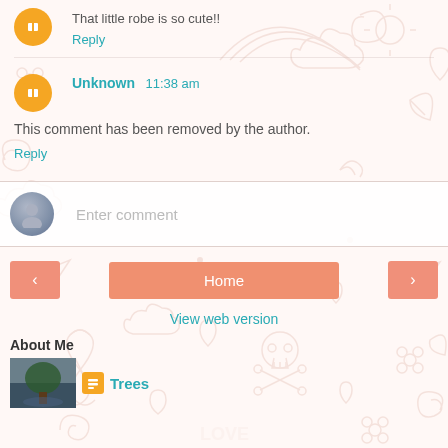That little robe is so cute!!
Reply
Unknown 11:38 am
This comment has been removed by the author.
Reply
Enter comment
Home
View web version
About Me
Trees